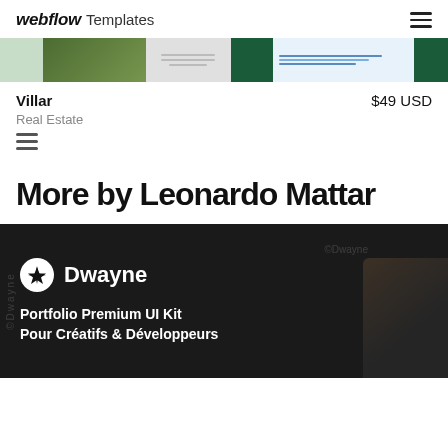webflow Templates
[Figure (screenshot): Template preview strip showing multiple website template thumbnails including light green, photo of lawn, form layout, dark green, dashboard, and solid green panels]
Villar   $49 USD
Real Estate
[Figure (other): Stack/layers icon (three horizontal lines icon)]
More by Leonardo Mattar
[Figure (screenshot): Dwayne Portfolio Premium UI Kit card with dark background showing the Dwayne logo (star icon + text), and tagline 'Portfolio Premium UI Kit Pour Créatifs & Développeurs']